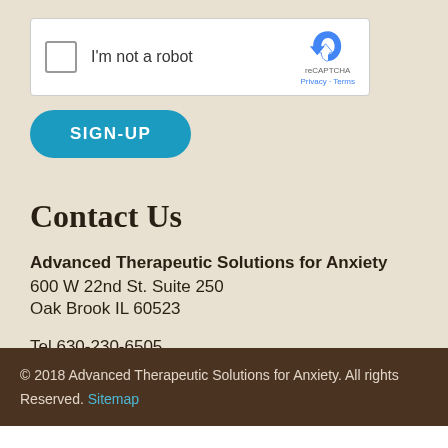[Figure (screenshot): reCAPTCHA widget with checkbox labeled 'I'm not a robot', reCAPTCHA logo, and Privacy/Terms links]
SIGN-UP
Contact Us
Advanced Therapeutic Solutions for Anxiety
600 W 22nd St. Suite 250
Oak Brook IL 60523
Tel 630-230-6505
Fax 630-230-3362
© 2018 Advanced Therapeutic Solutions for Anxiety. All rights Reserved. Sitemap